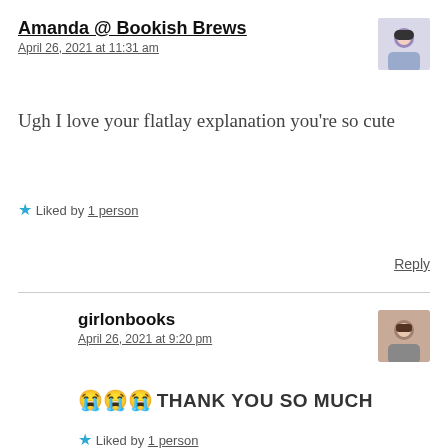Amanda @ Bookish Brews
April 26, 2021 at 11:31 am
Ugh I love your flatlay explanation you're so cute
Liked by 1 person
Reply
girlonbooks
April 26, 2021 at 9:20 pm
😭😭😭 THANK YOU SO MUCH
Liked by 1 person